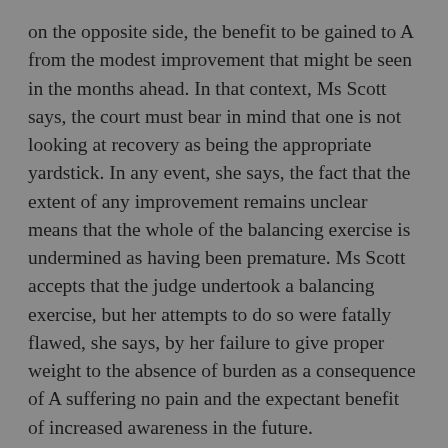on the opposite side, the benefit to be gained to A from the modest improvement that might be seen in the months ahead. In that context, Ms Scott says, the court must bear in mind that one is not looking at recovery as being the appropriate yardstick. In any event, she says, the fact that the extent of any improvement remains unclear means that the whole of the balancing exercise is undermined as having been premature. Ms Scott accepts that the judge undertook a balancing exercise, but her attempts to do so were fatally flawed, she says, by her failure to give proper weight to the absence of burden as a consequence of A suffering no pain and the expectant benefit of increased awareness in the future.
[54]  This analysis in turn feeds into ground 3 which is the suggestion that the judge failed to have regard to the obligation to protect life. Ms Scott submitted that had the judge given proper weight to the sanctity of life she would have accepted that the application was premature.